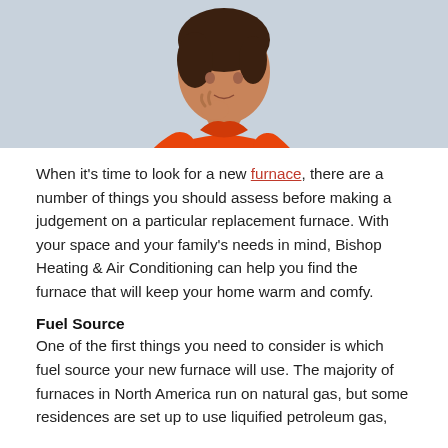[Figure (photo): Woman in orange/red t-shirt with arms crossed and hand on chin in a thinking pose, against a light blue/gray background. Only torso and head visible, cropped at top.]
When it's time to look for a new furnace, there are a number of things you should assess before making a judgement on a particular replacement furnace. With your space and your family's needs in mind, Bishop Heating & Air Conditioning can help you find the furnace that will keep your home warm and comfy.
Fuel Source
One of the first things you need to consider is which fuel source your new furnace will use. The majority of furnaces in North America run on natural gas, but some residences are set up to use liquified petroleum gas,